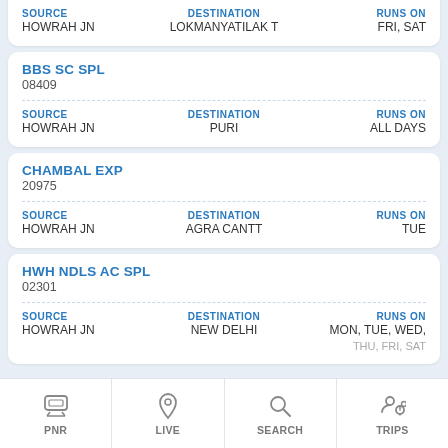SOURCE: HOWRAH JN | DESTINATION: LOKMANYATILAK T | RUNS ON: FRI, SAT
BBS SC SPL
08409
SOURCE: HOWRAH JN | DESTINATION: PURI | RUNS ON: ALL DAYS
CHAMBAL EXP
20975
SOURCE: HOWRAH JN | DESTINATION: AGRA CANTT | RUNS ON: TUE
HWH NDLS AC SPL
02301
SOURCE: HOWRAH JN | DESTINATION: NEW DELHI | RUNS ON: MON, TUE, WED, THU, FRI, SAT
PNR | LIVE | SEARCH | TRIPS